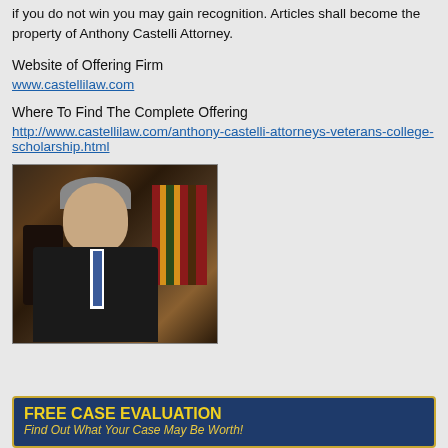if you do not win you may gain recognition. Articles shall become the property of Anthony Castelli Attorney.
Website of Offering Firm
www.castellilaw.com
Where To Find The Complete Offering
http://www.castellilaw.com/anthony-castelli-attorneys-veterans-college-scholarship.html
[Figure (photo): Portrait photo of Anthony Castelli, a middle-aged man in a dark suit with a blue tie, seated in front of a bookshelf]
FREE CASE EVALUATION
Find Out What Your Case May Be Worth!